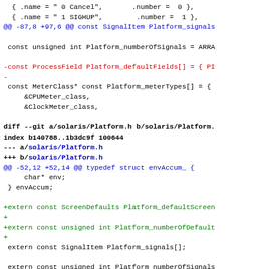{ .name = " 0 Cancel",       .number =  0 },
{ .name = " 1 SIGHUP",        .number =  1 },
@@ -87,8 +97,6 @@ const SignalItem Platform_signals

 const unsigned int Platform_numberOfSignals = ARRA

-const ProcessField Platform_defaultFields[] = { PI
-
 const MeterClass* const Platform_meterTypes[] = {
     &CPUMeter_class,
     &ClockMeter_class,

diff --git a/solaris/Platform.h b/solaris/Platform.
index b140788..1b3dc9f 100644
--- a/solaris/Platform.h
+++ b/solaris/Platform.h
@@ -52,12 +52,14 @@ typedef struct envAccum_ {
     char* env;
 } envAccum;

+extern const ScreenDefaults Platform_defaultScreen
+
+extern const unsigned int Platform_numberOfDefault
+
 extern const SignalItem Platform_signals[];

 extern const unsigned int Platform_numberOfSignals

-extern const ProcessField Platform_defaultFields[]
-
+extern const MeterClass* const Platform_meterTypes
[Figure (screenshot): A diff/patch view of source code changes to solaris/Platform.h and related files, showing removed lines in red and added lines in green, with diff headers in blue and bold.]